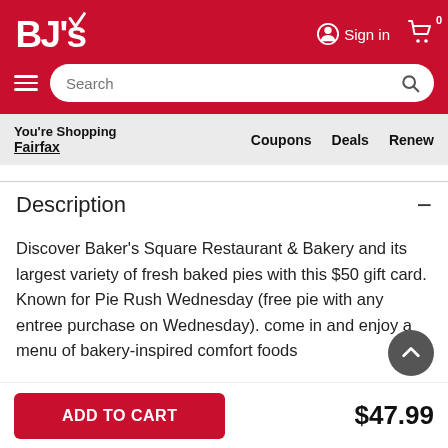[Figure (logo): BJ's Wholesale Club logo in white on red background]
Sign in
Search
You're Shopping
Fairfax
Coupons
Deals
Renew
Description
Discover Baker's Square Restaurant & Bakery and its largest variety of fresh baked pies with this $50 gift card. Known for Pie Rush Wednesday (free pie with any entree purchase on Wednesday). come in and enjoy a menu of bakery-inspired comfort foods
ADD TO CART
$47.99